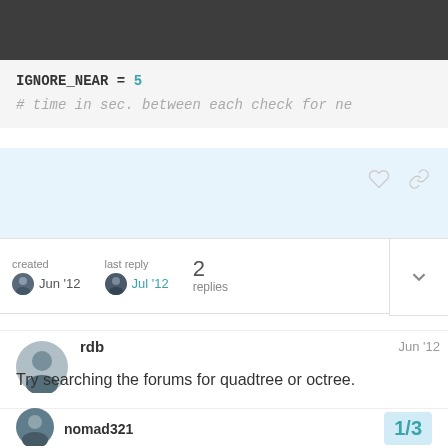IGNORE_NEAR = 5
# time in sec. between each check for ne
created Jun '12   last reply Jul '12   2 replies
rdb   Jun '12
Try searching the forums for quadtree or octree.
nomad321   1/3